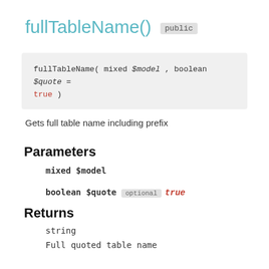fullTableName()  public
[Figure (screenshot): Code block showing: fullTableName( mixed $model , boolean $quote = true )]
Gets full table name including prefix
Parameters
mixed $model
boolean $quote  optional  true
Returns
string
Full quoted table name